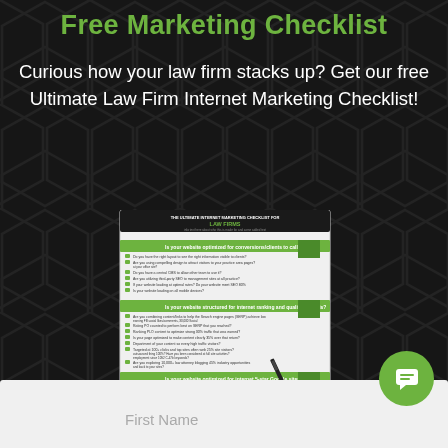Free Marketing Checklist
Curious how your law firm stacks up? Get our free Ultimate Law Firm Internet Marketing Checklist!
[Figure (illustration): A checklist document titled 'The Ultimate Internet Marketing Checklist for Law Firms' with a hand holding a pen about to write on it, with green section headers and bullet points, and LegalScapes logo at the bottom.]
First Name